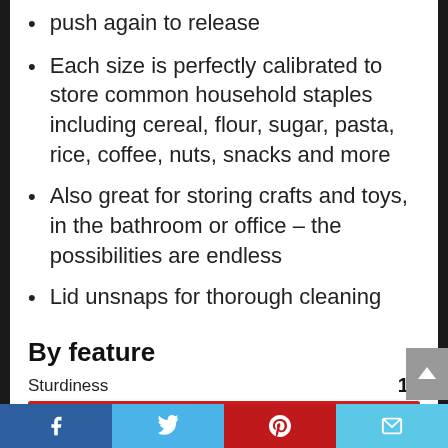push again to release
Each size is perfectly calibrated to store common household staples including cereal, flour, sugar, pasta, rice, coffee, nuts, snacks and more
Also great for storing crafts and toys, in the bathroom or office – the possibilities are endless
Lid unsnaps for thorough cleaning
By feature
Sturdiness  10
[Figure (bar-chart): Sturdiness]
Facebook | Twitter | Pinterest | Email